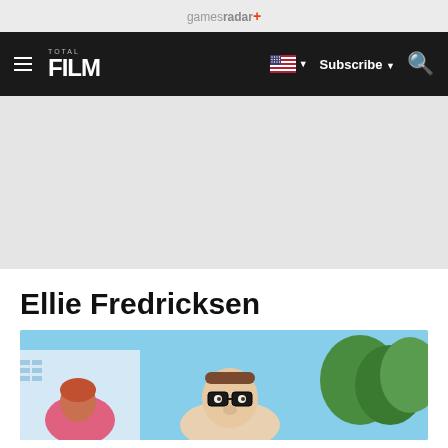gamesradar+
TOTAL FILM | Subscribe | Search
[Figure (photo): Screenshot of GamesRadar+ Total Film website showing a page for 'Ellie Fredricksen' with a navigation bar, ad space, title, and a cropped animated movie still of a character wearing thick-rimmed glasses from the Pixar film Up]
Ellie Fredricksen